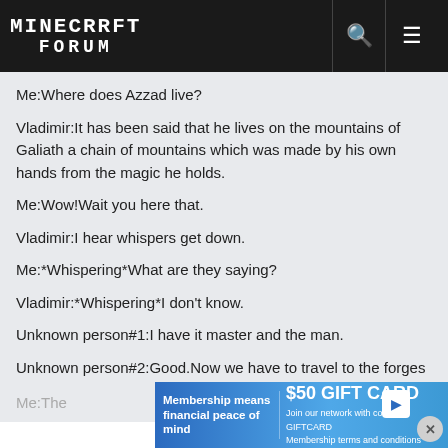MINECRAFT FORUM
Me:Where does Azzad live?
Vladimir:It has been said that he lives on the mountains of Galiath a chain of mountains which was made by his own hands from the magic he holds.
Me:Wow!Wait you here that.
Vladimir:I hear whispers get down.
Me:*Whispering*What are they saying?
Vladimir:*Whispering*I don't know.
Unknown person#1:I have it master and the man.
Unknown person#2:Good.Now we have to travel to the forges of Galiath.*Walks away*
Me:The
[Figure (infographic): Advertisement banner: Membership means financial peace of mind. Get up to a $50 GIFT CARD. Join our network with code GIFTCARD. Membership terms and conditions apply.]